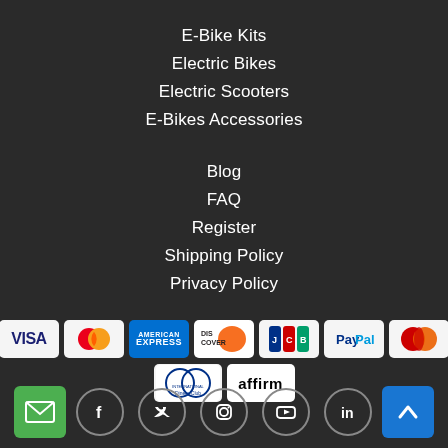E-Bike Kits
Electric Bikes
Electric Scooters
E-Bikes Accessories
Blog
FAQ
Register
Shipping Policy
Privacy Policy
[Figure (other): Payment method icons: Visa, Mastercard, American Express, Discover, JCB, PayPal, Maestro, Diners Club, Affirm]
[Figure (other): Social media icons: Facebook, Twitter, Instagram, YouTube, LinkedIn. Plus email button and scroll-to-top button.]